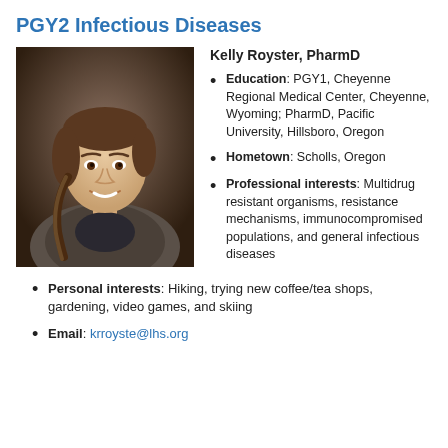PGY2 Infectious Diseases
[Figure (photo): Headshot photo of Kelly Royster, a woman with brown hair in a braid, wearing a grey blazer, smiling, against a dark grey/brown background.]
Kelly Royster, PharmD
Education: PGY1, Cheyenne Regional Medical Center, Cheyenne, Wyoming; PharmD, Pacific University, Hillsboro, Oregon
Hometown: Scholls, Oregon
Professional interests: Multidrug resistant organisms, resistance mechanisms, immunocompromised populations, and general infectious diseases
Personal interests: Hiking, trying new coffee/tea shops, gardening, video games, and skiing
Email: krroyste@lhs.org